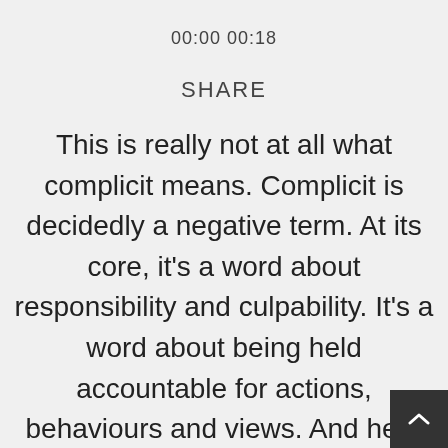00:00 00:18
SHARE
This is really not at all what complicit means. Complicit is decidedly a negative term. At its core, it's a word about responsibility and culpability. It's a word about being held accountable for actions, behaviours and views. And here she's saying it's about being a force for good and that's not at all what it